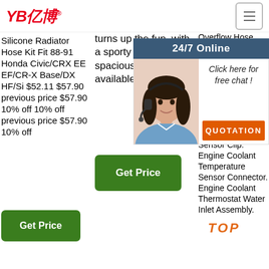[Figure (logo): YB亿博 logo in red italic text with registered trademark symbol]
Silicone Radiator Hose Kit Fit 88-91 Honda Civic/CRX EE EF/CR-X Base/DX HF/Si $52.11 $57.90 previous price $57.90 10% off 10% off previous price $57.90 10% off
turns up the fun, with a sporty ride, spacious cabin and available Bose audio.
Overflow Hose. Engine Coolant Overflow Replacement Coolant Engine Pipe. Engine Temperature Sensor Clip. Coolant Temperature Sensor Clip. Engine Coolant Temperature Sensor Connector. Engine Coolant Thermostat Water Inlet Assembly.
[Figure (other): 24/7 Online chat widget with woman wearing headset, 'Click here for free chat!' text, and QUOTATION button]
[Figure (other): Get Price green button - column 1]
[Figure (other): Get Price green button - column 2]